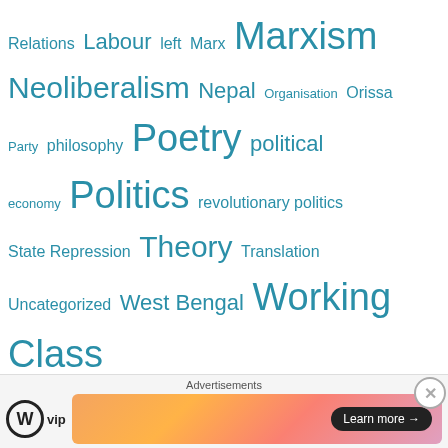Relations Labour left Marx Marxism Neoliberalism Nepal Organisation Orissa Party philosophy Poetry political economy Politics revolutionary politics State Repression Theory Translation Uncategorized West Bengal Working Class
Radical Notes
[Figure (other): Advertisement banner with WordPress VIP logo and colorful gradient banner with Learn more button]